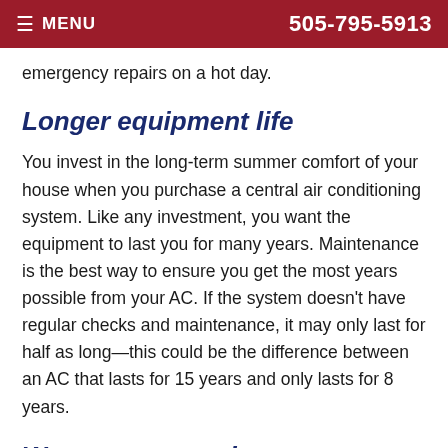MENU | 505-795-5913
emergency repairs on a hot day.
Longer equipment life
You invest in the long-term summer comfort of your house when you purchase a central air conditioning system. Like any investment, you want the equipment to last you for many years. Maintenance is the best way to ensure you get the most years possible from your AC. If the system doesn't have regular checks and maintenance, it may only last for half as long—this could be the difference between an AC that lasts for 15 years and only lasts for 8 years.
Warranty protection